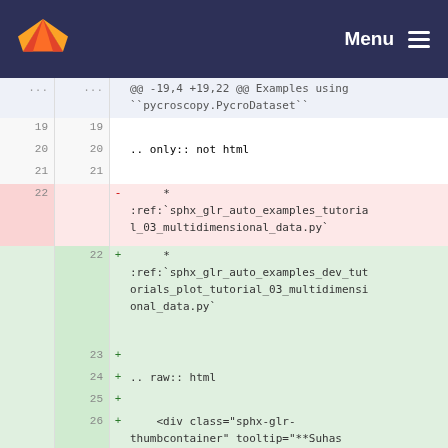[Figure (screenshot): GitLab navigation bar with orange fox logo on left and Menu with hamburger icon on right, dark navy background]
@@ -19,4 +19,22 @@ Examples using ``pycroscopy.PycroDataset``
19  19     
20  20     .. only:: not html
21  21     
22  (deleted)  -        *
                :ref:`sphx_glr_auto_examples_tutorial_03_multidimensional_data.py`
22  (added)  +        *
                :ref:`sphx_glr_auto_examples_dev_tutorials_plot_tutorial_03_multidimensional_data.py`
23  +
24  + .. raw:: html
25  +
26  +     <div class="sphx-glr-thumbcontainer" tooltip="**Suhas Somnath** 8/8/2017">
27  +
28  + .. only:: html